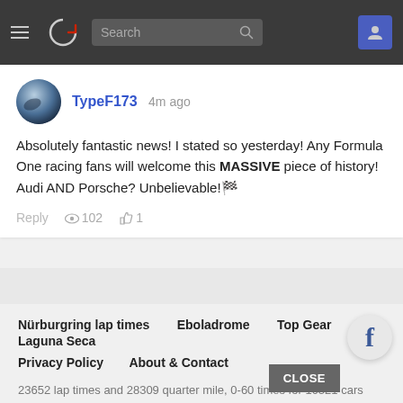[Figure (screenshot): Website navigation bar with hamburger menu, logo, search box, and user icon]
TypeF173 4m ago
Absolutely fantastic news! I stated so yesterday! Any Formula One racing fans will welcome this MASSIVE piece of history! Audi AND Porsche? Unbelievable!🏁
Reply 👁 102 👍 1
Nürburgring lap times
Eboladrome
Top Gear
Laguna Seca
Privacy Policy
About & Contact
23652 lap times and 28309 quarter mile, 0-60 times for 10321 cars and 229 bikes.
© FastestLaps.com 2022